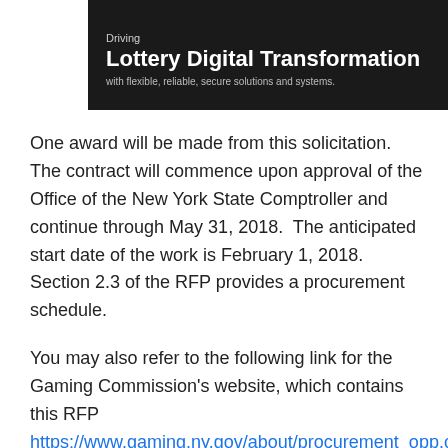[Figure (illustration): Dark/black banner image with text 'Driving', 'Lottery Digital Transformation', and subtitle 'with flexible, reliable, secure solutions and systems.']
One award will be made from this solicitation. The contract will commence upon approval of the Office of the New York State Comptroller and continue through May 31, 2018. The anticipated start date of the work is February 1, 2018. Section 2.3 of the RFP provides a procurement schedule.
You may also refer to the following link for the Gaming Commission's website, which contains this RFP https://www.gaming.ny.gov/about/procurement_opp.current.php. Please note that the deadline to submit a response for this RFP will be Wednesday, November 1, 2017 at 3:00pm EST.